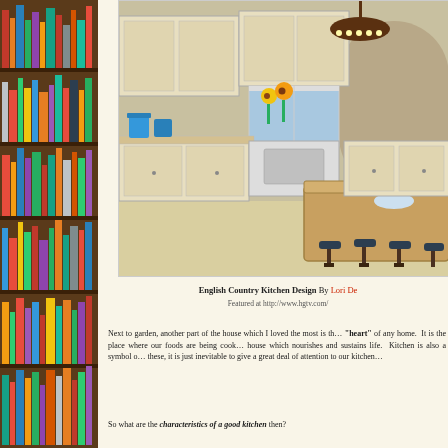[Figure (photo): Bookshelf with colorful books on a dark wooden shelf, running full height on the left side of the page.]
[Figure (photo): English Country Kitchen design featuring cream-colored cabinets, a large wooden island with bar stools, a chandelier, and sunflowers on the counter.]
English Country Kitchen Design By Lori De
Featured at http://www.hgtv.com/
Next to garden, another part of the house which I loved the most is th… "heart" of any home. It is the place where our foods are being cook… house which nourishes and sustains life. Kitchen is also a symbol o… these, it is just inevitable to give a great deal of attention to our kitchen…
So what are the characteristics of a good kitchen then?